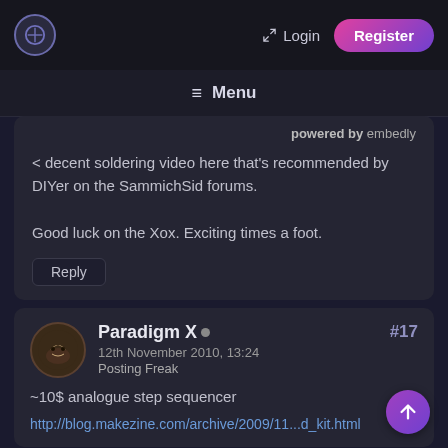Login  Register  ≡ Menu
powered by embedly
< decent soldering video here that's recommended by DIYer on the SammichSid forums.

Good luck on the Xox. Exciting times a foot.
Reply
Paradigm X • #17
12th November 2010, 13:24
Posting Freak
~10$ analogue step sequencer
http://blog.makezine.com/archive/2009/11...d_kit.html